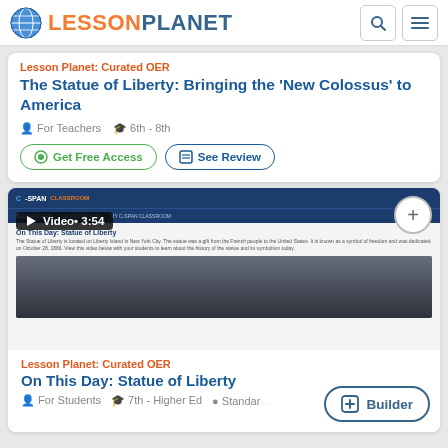LESSON PLANET
Lesson Planet: Curated OER
The Statue of Liberty: Bringing the 'New Colossus' to America
For Teachers  6th - 8th
Get Free Access  See Review
[Figure (screenshot): C-SPAN Classroom website screenshot showing 'On This Day: Statue of Liberty' page with a dark image of the Statue of Liberty silhouette]
Video• 3:54
Lesson Planet: Curated OER
On This Day: Statue of Liberty
For Students  7th - Higher Ed  Standar...
Builder